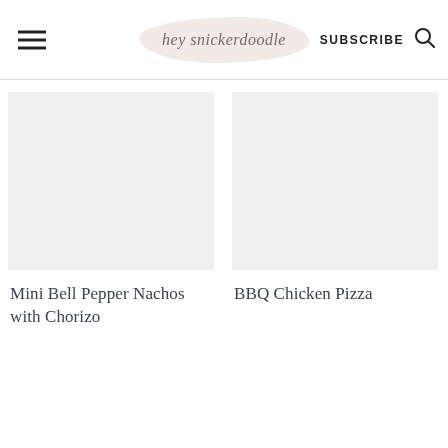hey snickerdoodle — SUBSCRIBE
Mini Bell Pepper Nachos with Chorizo
BBQ Chicken Pizza